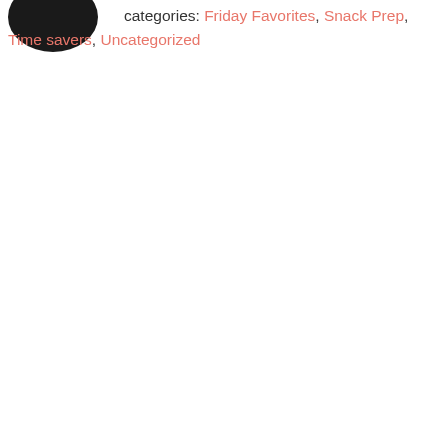[Figure (illustration): Circular avatar image, dark/black filled circle, partially cropped at top-left corner of the page.]
categories: Friday Favorites, Snack Prep, Time savers, Uncategorized